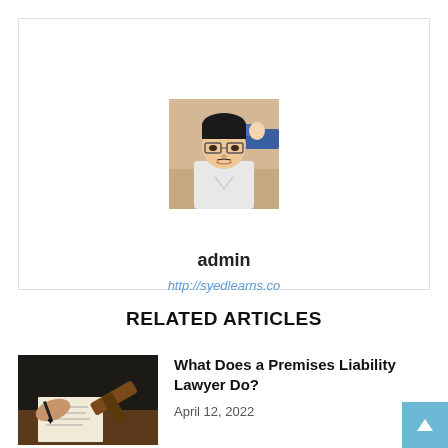[Figure (photo): Author profile photo of a young man with glasses in a classroom setting]
admin
http://syedlearns.co
RELATED ARTICLES
[Figure (photo): Person writing with a pen next to a gavel on a desk - legal/lawyer themed stock photo]
What Does a Premises Liability Lawyer Do?
April 12, 2022